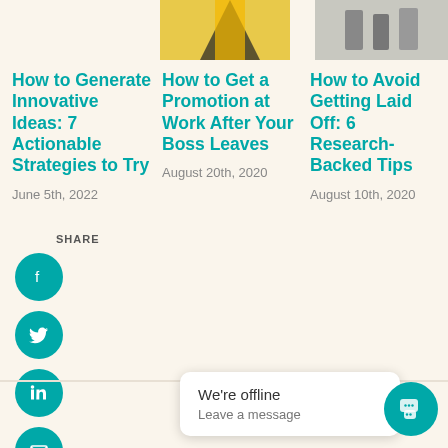[Figure (photo): Partially visible image in center top area showing yellow and black design]
[Figure (photo): Partially visible image in right top area showing people walking]
How to Generate Innovative Ideas: 7 Actionable Strategies to Try
June 5th, 2022
How to Get a Promotion at Work After Your Boss Leaves
August 20th, 2020
How to Avoid Getting Laid Off: 6 Research-Backed Tips
August 10th, 2020
SHARE
[Figure (infographic): Social share icons: Facebook, Twitter, LinkedIn, Email]
We're offline
Leave a message